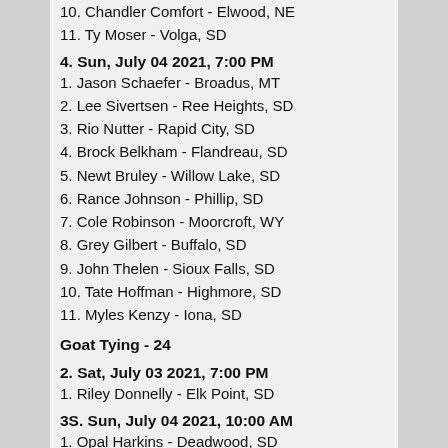10. Chandler Comfort - Elwood, NE
11. Ty Moser - Volga, SD
4. Sun, July 04 2021, 7:00 PM
1. Jason Schaefer - Broadus, MT
2. Lee Sivertsen - Ree Heights, SD
3. Rio Nutter - Rapid City, SD
4. Brock Belkham - Flandreau, SD
5. Newt Bruley - Willow Lake, SD
6. Rance Johnson - Phillip, SD
7. Cole Robinson - Moorcroft, WY
8. Grey Gilbert - Buffalo, SD
9. John Thelen - Sioux Falls, SD
10. Tate Hoffman - Highmore, SD
11. Myles Kenzy - Iona, SD
Goat Tying - 24
2. Sat, July 03 2021, 7:00 PM
1. Riley Donnelly - Elk Point, SD
3S. Sun, July 04 2021, 10:00 AM
1. Opal Harkins - Deadwood, SD
2. Cheyenne Vandestouwe - Inwood, IA
3. Kayden Steele - Newell, SD
4. Brooke Worman - Sheridan, WY
5. Natalie Leisinger - Recluse, WY
6. Camri Elshere - Elm Springs, SD
7. Piper Cordes - Wall, SD
8. Karissa Rayhill - Torrington, WY
9. McKenna Clingman - Moorcroft, WY